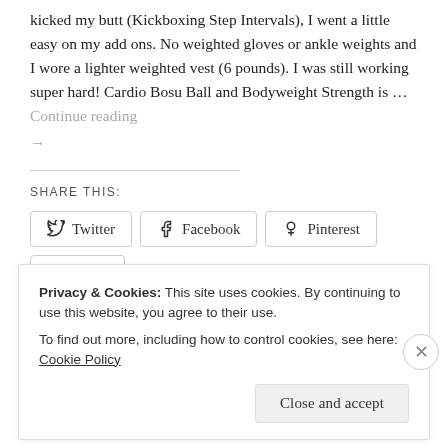kicked my butt (Kickboxing Step Intervals), I went a little easy on my add ons. No weighted gloves or ankle weights and I wore a lighter weighted vest (6 pounds). I was still working super hard! Cardio Bosu Ball and Bodyweight Strength is … Continue reading →
SHARE THIS:
Twitter | Facebook | Pinterest | Email | More
Privacy & Cookies: This site uses cookies. By continuing to use this website, you agree to their use.
To find out more, including how to control cookies, see here: Cookie Policy